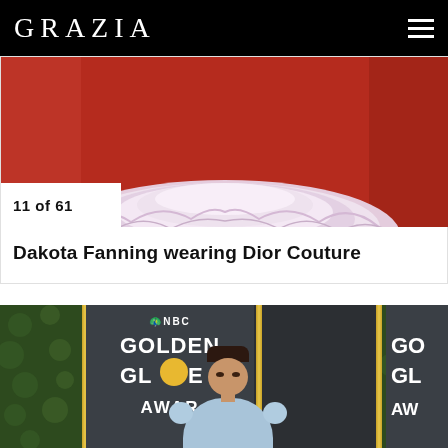GRAZIA
11 of 61
Dakota Fanning wearing Dior Couture
[Figure (photo): Woman in white/lavender tulle gown on red carpet, photo cropped to show lower half of dress. Red carpet background.]
[Figure (photo): Woman with dark hair in updo wearing light blue puff-sleeve dress at the Golden Globe Awards, standing in front of NBC Golden Globe Awards backdrop with hedges.]